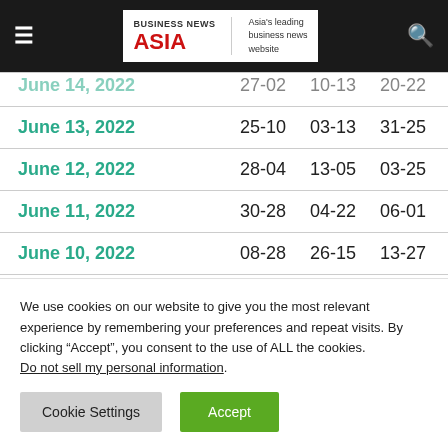BUSINESS NEWS ASIA — Asia's leading business news website
| Date | Col1 | Col2 | Col3 |
| --- | --- | --- | --- |
| June 14, 2022 (partial) | 27-02 | 10-13 | 20-22 |
| June 13, 2022 | 25-10 | 03-13 | 31-25 |
| June 12, 2022 | 28-04 | 13-05 | 03-25 |
| June 11, 2022 | 30-28 | 04-22 | 06-01 |
| June 10, 2022 | 08-28 | 26-15 | 13-27 |
We use cookies on our website to give you the most relevant experience by remembering your preferences and repeat visits. By clicking “Accept”, you consent to the use of ALL the cookies. Do not sell my personal information.